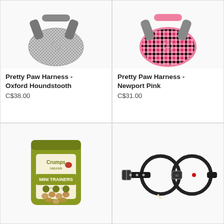[Figure (photo): Gray houndstooth dog harness product photo on white background]
Pretty Paw Harness - Oxford Houndstooth
C$38.00
[Figure (photo): Pink plaid/tartan dog harness product photo on white background]
Pretty Paw Harness - Newport Pink
C$31.00
[Figure (photo): Crumps Naturals Mini Trainers dog treat bag, olive/yellow packaging]
[Figure (photo): Black leather double-ring dog collar with studded strap and bone charm]